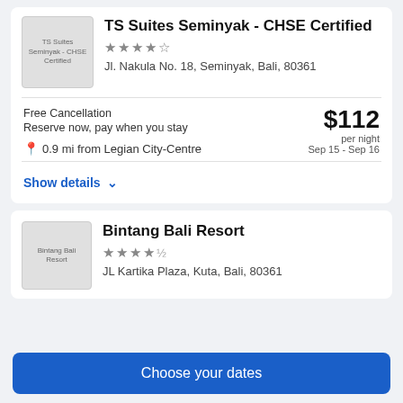[Figure (photo): Thumbnail image of TS Suites Seminyak - CHSE Certified hotel]
TS Suites Seminyak - CHSE Certified
★★★★☆ (4 stars)
Jl. Nakula No. 18, Seminyak, Bali, 80361
Free Cancellation
Reserve now, pay when you stay
$112 per night
Sep 15 - Sep 16
0.9 mi from Legian City-Centre
Show details
[Figure (photo): Thumbnail image of Bintang Bali Resort]
Bintang Bali Resort
★★★★½ (3.5 stars)
JL Kartika Plaza, Kuta, Bali, 80361
Choose your dates